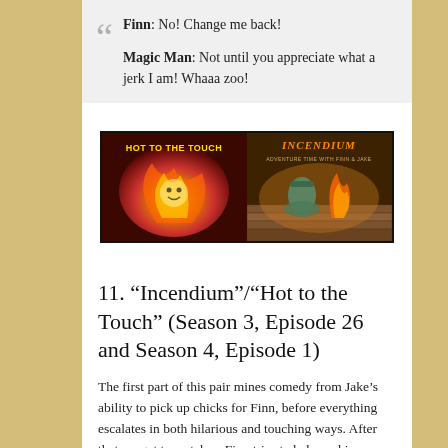Finn: No! Change me back!

Magic Man: Not until you appreciate what a jerk I am! Whaaa zoo!
[Figure (illustration): Two side-by-side TV episode thumbnails: left shows 'HOT TO THE TOUCH' with fiery swirling flame character, right shows 'INCENDIUM' with a character on wooden floor with fire]
11. “Incendium”/“Hot to the Touch” (Season 3, Episode 26 and Season 4, Episode 1)
The first part of this pair mines comedy from Jake’s ability to pick up chicks for Finn, before everything escalates in both hilarious and touching ways. After that we get to watch as Finn tries to balance his